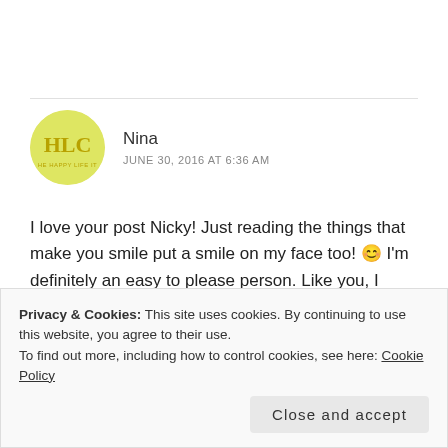Nina
JUNE 30, 2016 AT 6:36 AM
I love your post Nicky! Just reading the things that make you smile put a smile on my face too! 😊 I'm definitely an easy to please person. Like you, I delight in simple things like listening to my favorite music, playing my guitar,
Privacy & Cookies: This site uses cookies. By continuing to use this website, you agree to their use.
To find out more, including how to control cookies, see here: Cookie Policy
Close and accept